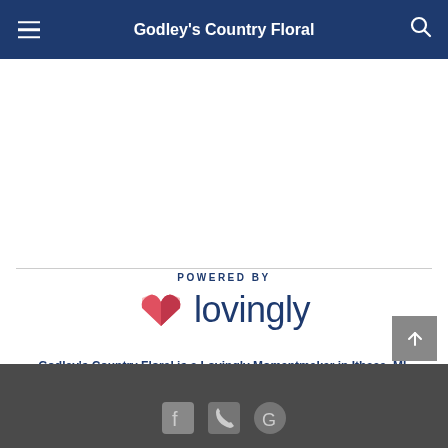Godley's Country Floral
[Figure (logo): Lovingly logo with pink/red heart icon and text 'lovingly', preceded by 'POWERED BY' label]
Godley's Country Floral is a Lovingly Momentmaker in Ithaca, MI.
Buying local matters. Discover how Lovingly is committed to strengthening relationships by helping local florists market, sell, and deliver their floral designs online.
Footer with social media icons and back-to-top button